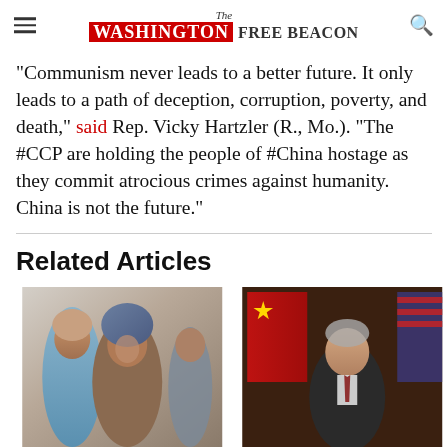The Washington Free Beacon
"Communism never leads to a better future. It only leads to a path of deception, corruption, poverty, and death," said Rep. Vicky Hartzler (R., Mo.). "The #CCP are holding the people of #China hostage as they commit atrocious crimes against humanity. China is not the future."
Related Articles
[Figure (photo): Photo of two women, one wearing a blue headscarf, at what appears to be a press conference]
[Figure (photo): Photo of a man in a suit standing in front of Chinese and American flags]